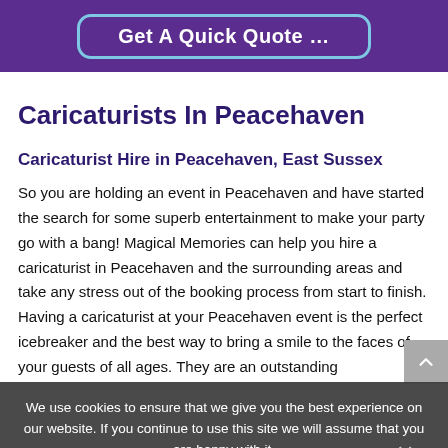Get A Quick Quote …
Caricaturists In Peacehaven
Caricaturist Hire in Peacehaven, East Sussex
So you are holding an event in Peacehaven and have started the search for some superb entertainment to make your party go with a bang! Magical Memories can help you hire a caricaturist in Peacehaven and the surrounding areas and take any stress out of the booking process from start to finish. Having a caricaturist at your Peacehaven event is the perfect icebreaker and the best way to bring a smile to the faces of your guests of all ages. They are an outstanding…
We use cookies to ensure that we give you the best experience on our website. If you continue to use this site we will assume that you are happy with it.